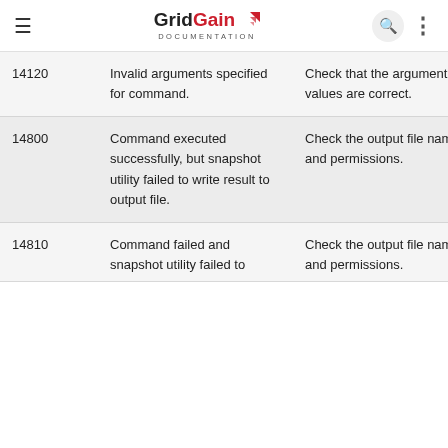GridGain DOCUMENTATION
| Code | Message | Action |
| --- | --- | --- |
| 14120 | Invalid arguments specified for command. | Check that the argument values are correct. |
| 14800 | Command executed successfully, but snapshot utility failed to write result to output file. | Check the output file name and permissions. |
| 14810 | Command failed and snapshot utility failed to | Check the output file name and permissions. |